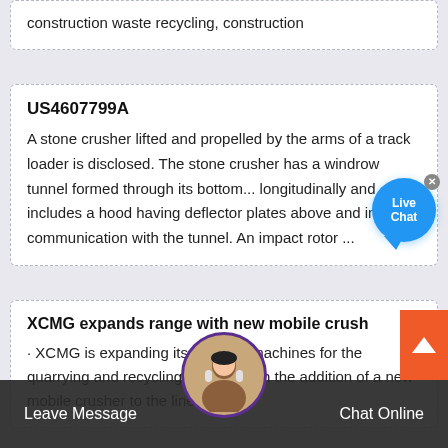construction waste recycling, construction
US4607799A
A stone crusher lifted and propelled by the arms of a track loader is disclosed. The stone crusher has a windrow tunnel formed through its bottom... longitudinally and includes a hood having deflector plates above and in communication with the tunnel. An impact rotor ...
XCMG expands range with new mobile crush
· XCMG is expanding its range of machines for the quarrying and recycling markets with the addition of a new mobile crusher to the line-up....